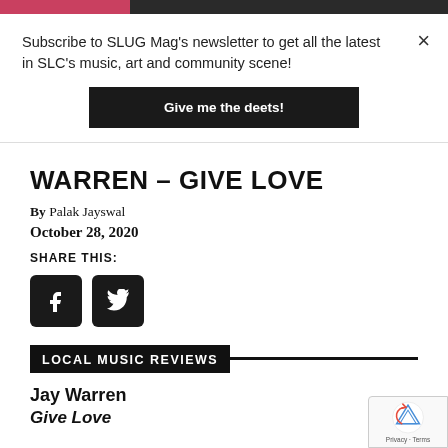Subscribe to SLUG Mag's newsletter to get all the latest in SLC's music, art and community scene!
Give me the deets!
WARREN – GIVE LOVE
By Palak Jayswal
October 28, 2020
SHARE THIS:
[Figure (other): Facebook and Twitter share buttons (black rounded squares with f and bird icons)]
LOCAL MUSIC REVIEWS
Jay Warren
Give Love